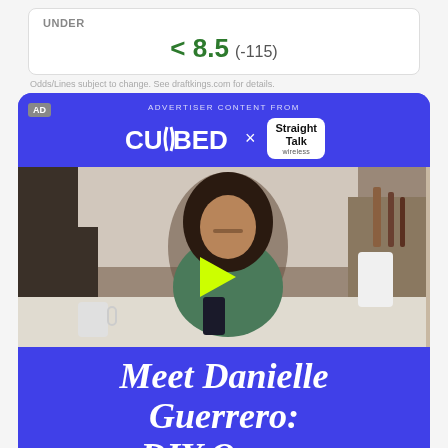| UNDER | < 8.5 (-115) |
Odds/Lines subject to change. See draftkings.com for details.
[Figure (advertisement): Advertiser content from CURBED x Straight Talk Wireless. Shows a woman in a kitchen looking at her phone with a play button overlay. Bottom text reads Meet Danielle Guerrero: DIY Queen]
Meet Danielle Guerrero: DIY Queen